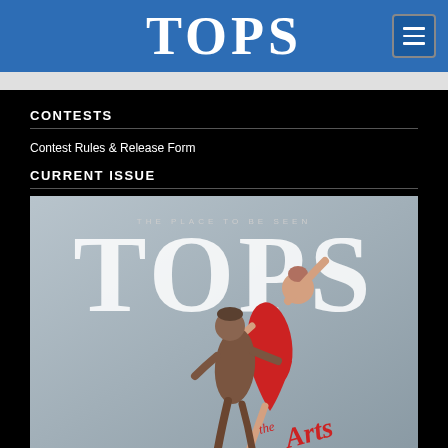TOPS
CONTESTS
Contest Rules & Release Form
CURRENT ISSUE
[Figure (photo): Magazine cover of TOPS magazine showing two ballet dancers — a woman in a red leotard being lifted by a male dancer — against a gray background. The cover reads 'THE PLACE TO BE SEEN', 'TOPS', and 'the Arts' in red script lettering.]